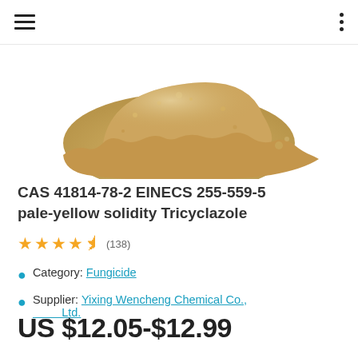Navigation bar with hamburger menu and options menu
[Figure (photo): Pale yellow powder product photo of Tricyclazole, shown as a mound of fine yellowish-tan powder on a white background]
CAS 41814-78-2 EINECS 255-559-5 pale-yellow solidity Tricyclazole
★★★★½ (138)
Category: Fungicide
Supplier: Yixing Wencheng Chemical Co., Ltd.
US $12.05-$12.99